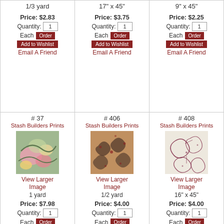1/3 yard
Price: $2.83
Quantity: 1 Each Order
Add to Wishlist
Email A Friend
17" x 45"
Price: $3.75
Quantity: 1 Each Order
Add to Wishlist
Email A Friend
9" x 45"
Price: $2.25
Quantity: 1 Each Order
Add to Wishlist
Email A Friend
# 37
Stash Builders Prints
[Figure (photo): Fabric swatch showing floral print with pink roses, yellow flowers on green/teal background]
View Larger Image
1 yard
Price: $7.98
Quantity: 1 Each Order
Add to Wishlist
Email A Friend
# 406
Stash Builders Prints
[Figure (photo): Fabric swatch showing dark swirl and dot pattern on brown/tan background]
View Larger Image
1/2 yard
Price: $4.00
Quantity: 1 Each Order
Add to Wishlist
Email A Friend
# 408
Stash Builders Prints
[Figure (photo): Fabric swatch showing floral/botanical print in dark red/burgundy on cream background]
View Larger Image
16" x 45"
Price: $4.00
Quantity: 1 Each Order
Add to Wishlist
Email A Friend